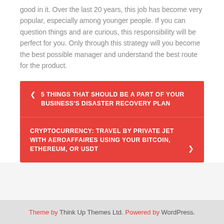good in it. Over the last 20 years, this job has become very popular, especially among younger people. If you can question things and are curious, this responsibility will be perfect for you. Only through this strategy will you become the best possible manager and understand the best route for the product.
< 5 THINGS THAT SHOULD BE A PART OF YOUR BUSINESS'S DISASTER RECOVERY PLAN
CRYPTOCURRENCY: TRAVEL BY PRIVATE JET WITH AEROAFFAIRES USING YOUR BITCOIN, ETHEREUM, OR USDT >
Theme by Think Up Themes Ltd. Powered by WordPress.